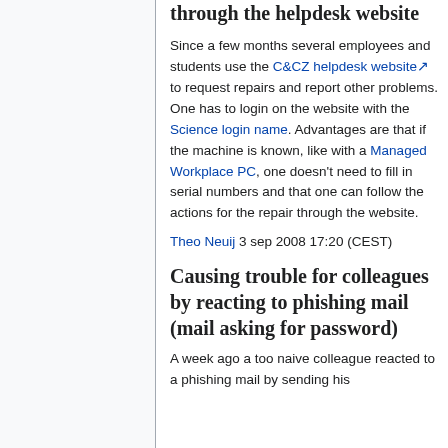through the helpdesk website
Since a few months several employees and students use the C&CZ helpdesk website to request repairs and report other problems. One has to login on the website with the Science login name. Advantages are that if the machine is known, like with a Managed Workplace PC, one doesn't need to fill in serial numbers and that one can follow the actions for the repair through the website.
Theo Neuij 3 sep 2008 17:20 (CEST)
Causing trouble for colleagues by reacting to phishing mail (mail asking for password)
A week ago a too naive colleague reacted to a phishing mail by sending his